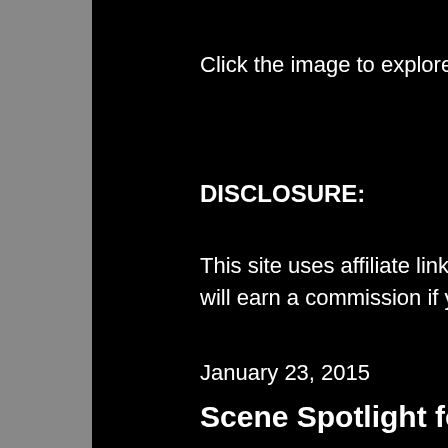Click the image to explore the Disaster C
DISCLOSURE:
This site uses affiliate links for Booksho will earn a commission if you click throu
January 23, 2015
Scene Spotlight for Deare